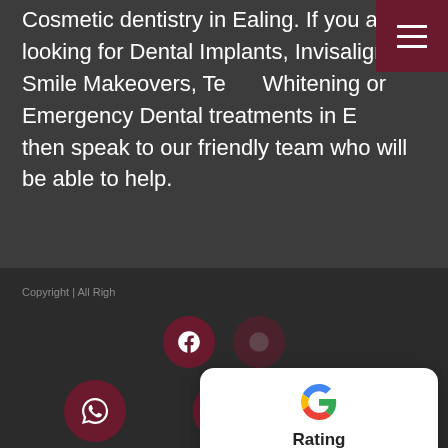Cosmetic dentistry in Ealing. If you are looking for Dental Implants, Invisalign, Smile Makeovers, Teeth Whitening or Emergency Dental treatments in Ealing, then speak to our friendly team who will be able to help.
[Figure (infographic): Google Rating card showing 4.8 stars with 568 reviews, overlaid on page footer. Also shows Facebook and other social media icons, plus WhatsApp, calendar, and phone icons at bottom.]
Copyright | All Rights Reserved